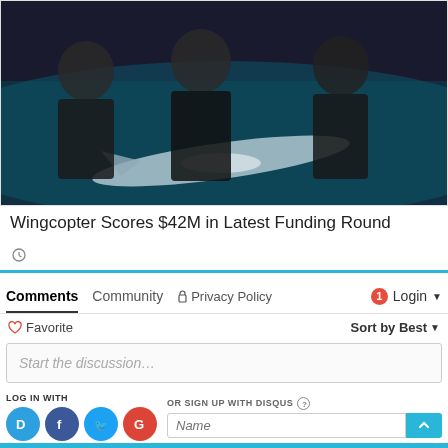[Figure (photo): Three people holding a drone/fixed-wing UAV model, dark background with teal lighting]
Wingcopter Scores $42M in Latest Funding Round
clock icon (time indicator)
[Figure (screenshot): Disqus comments section with tabs: Comments (selected), Community, Privacy Policy, Login. Favorite button, Sort by Best dropdown, Start the discussion input, LOG IN WITH social icons (Disqus, Facebook, Twitter, Google), OR SIGN UP WITH DISQUS field with Name input and scroll-to-top button]